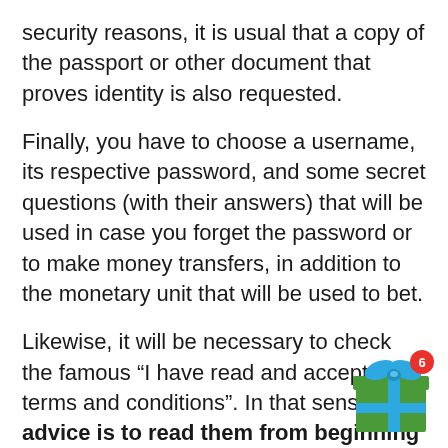security reasons, it is usual that a copy of the passport or other document that proves identity is also requested.
Finally, you have to choose a username, its respective password, and some secret questions (with their answers) that will be used in case you forget the password or to make money transfers, in addition to the monetary unit that will be used to bet.
Likewise, it will be necessary to check the famous “I have read and accept the terms and conditions”. In that sense, the advice is to read them from beginning to end.
[Figure (illustration): A green gift box with a blue ribbon bow, with a red notification badge showing the number 6 in the top right corner.]